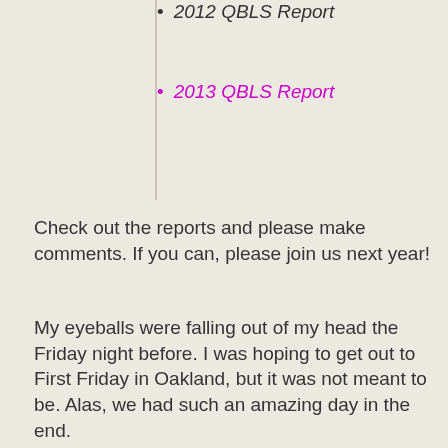2012 QBLS Report
2013 QBLS Report
Check out the reports and please make comments. If you can, please join us next year!
My eyeballs were falling out of my head the Friday night before. I was hoping to get out to First Friday in Oakland, but it was not meant to be. Alas, we had such an amazing day in the end.